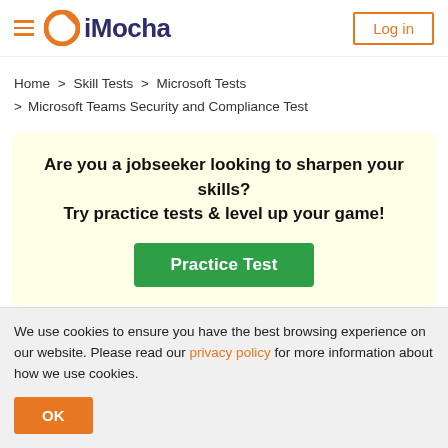[Figure (logo): iMocha logo with orange circular icon and dark blue text, hamburger menu icon on left, Log in button on right]
Home > Skill Tests > Microsoft Tests > Microsoft Teams Security and Compliance Test
Are you a jobseeker looking to sharpen your skills? Try practice tests & level up your game! [Practice Test button]
We use cookies to ensure you have the best browsing experience on our website. Please read our privacy policy for more information about how we use cookies.